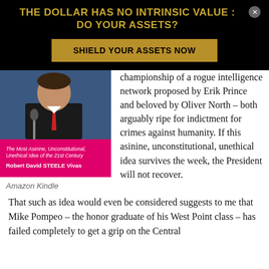THE DOLLAR HAS NO INTRINSIC VALUE : DO YOUR ASSETS?
SHIELD YOUR ASSETS NOW
[Figure (photo): Book cover with pink/magenta background showing a man in a suit at a microphone, with subtitle 'The Most Asinine, Unconstitutional, Unethical Idea of the 21st Century' and author 'Robert David STEELE Vivas']
Amazon Kindle
championship of a rogue intelligence network proposed by Erik Prince and beloved by Oliver North – both arguably ripe for indictment for crimes against humanity. If this asinine, unconstitutional, unethical idea survives the week, the President will not recover.
That such as idea would even be considered suggests to me that Mike Pompeo – the honor graduate of his West Point class – has failed completely to get a grip on the Central